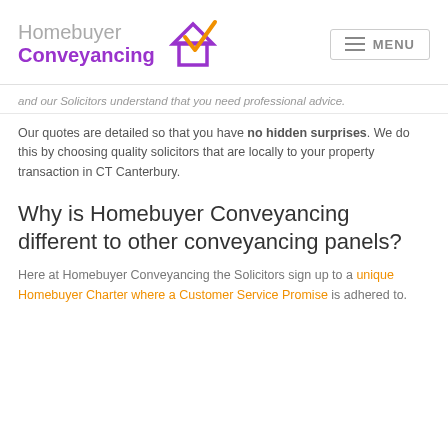[Figure (logo): Homebuyer Conveyancing logo with house and checkmark icon in purple and orange]
and our Solicitors understand that you need professional advice.
Our quotes are detailed so that you have no hidden surprises. We do this by choosing quality solicitors that are locally to your property transaction in CT Canterbury.
Why is Homebuyer Conveyancing different to other conveyancing panels?
Here at Homebuyer Conveyancing the Solicitors sign up to a unique Homebuyer Charter where a Customer Service Promise is adhered to.